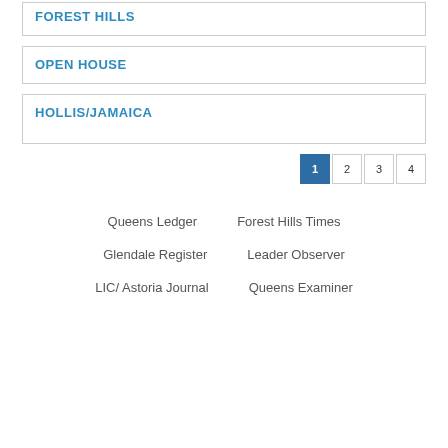FOREST HILLS
OPEN HOUSE
HOLLIS/JAMAICA
1
2
3
4
Queens Ledger
Forest Hills Times
Glendale Register
Leader Observer
LIC/ Astoria Journal
Queens Examiner